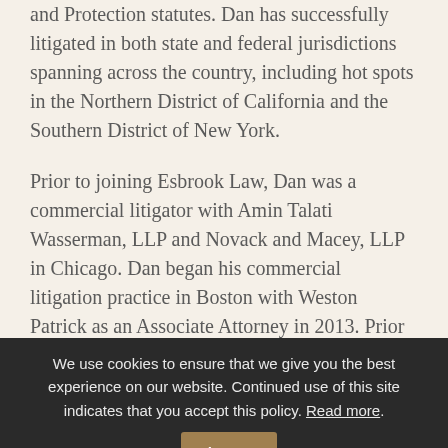and Protection statutes. Dan has successfully litigated in both state and federal jurisdictions spanning across the country, including hot spots in the Northern District of California and the Southern District of New York.
Prior to joining Esbrook Law, Dan was a commercial litigator with Amin Talati Wasserman, LLP and Novack and Macey, LLP in Chicago. Dan began his commercial litigation practice in Boston with Weston Patrick as an Associate Attorney in 2013. Prior to law school, Dan began his legal career as a civil litigation legal assistant at Kirkland
We use cookies to ensure that we give you the best experience on our website. Continued use of this site indicates that you accept this policy. Read more. Accept